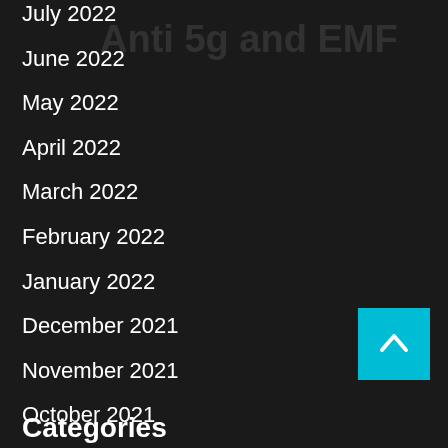July 2022
June 2022
May 2022
April 2022
March 2022
February 2022
January 2022
December 2021
November 2021
October 2021
September 2021
August 2021
Categories